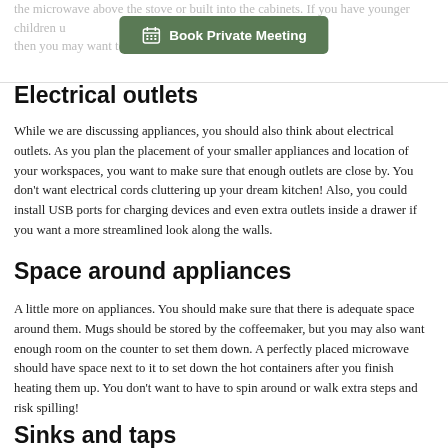the microwave above the stove or built into the cabinets. If you have younger children using the microwave, then you may want to mount it lower to the counter.
[Figure (other): Green button with calendar icon labeled 'Book Private Meeting']
Electrical outlets
While we are discussing appliances, you should also think about electrical outlets. As you plan the placement of your smaller appliances and location of your workspaces, you want to make sure that enough outlets are close by. You don't want electrical cords cluttering up your dream kitchen! Also, you could install USB ports for charging devices and even extra outlets inside a drawer if you want a more streamlined look along the walls.
Space around appliances
A little more on appliances. You should make sure that there is adequate space around them. Mugs should be stored by the coffeemaker, but you may also want enough room on the counter to set them down. A perfectly placed microwave should have space next to it to set down the hot containers after you finish heating them up. You don't want to have to spin around or walk extra steps and risk spilling!
Sinks and taps